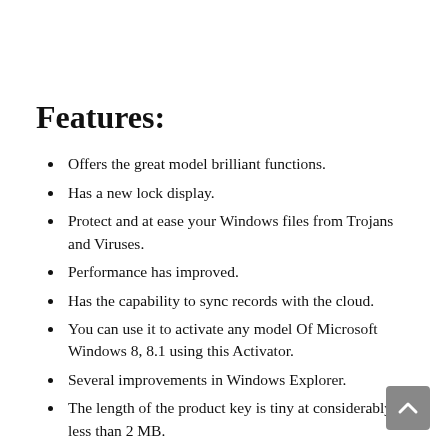Features:
Offers the great model brilliant functions.
Has a new lock display.
Protect and at ease your Windows files from Trojans and Viruses.
Performance has improved.
Has the capability to sync records with the cloud.
You can use it to activate any model Of Microsoft Windows 8, 8.1 using this Activator.
Several improvements in Windows Explorer.
The length of the product key is tiny at considerably less than 2 MB.
The new Task supervisor.
It comes with a built-in antivirus established in it.
Offers many more particular features than different